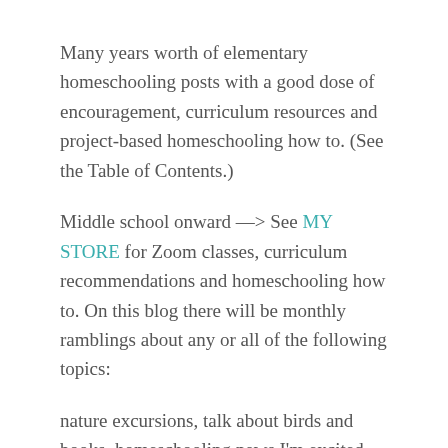Many years worth of elementary homeschooling posts with a good dose of encouragement, curriculum resources and project-based homeschooling how to. (See the Table of Contents.)
Middle school onward —> See MY STORE for Zoom classes, curriculum recommendations and homeschooling how to. On this blog there will be monthly ramblings about any or all of the following topics:
nature excursions, talk about birds and books, homeschooling news I'm excited about, what Mama is learning, plants, maybe documentaries too.
Two young musicians: A classical pianist and a cellist